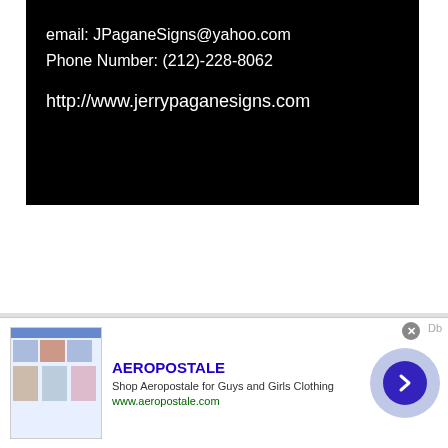email: JPaganeSigns@yahoo.com
Phone Number: (212)-228-8062

http://www.jerrypaganesigns.com
[Figure (screenshot): Advertisement banner for Aeropostale showing clothing images, title 'AEROPOSTALE', description 'Shop Aeropostale for Guys and Girls Clothing', URL 'www.aeropostale.com', with a blue circular arrow button and close button.]